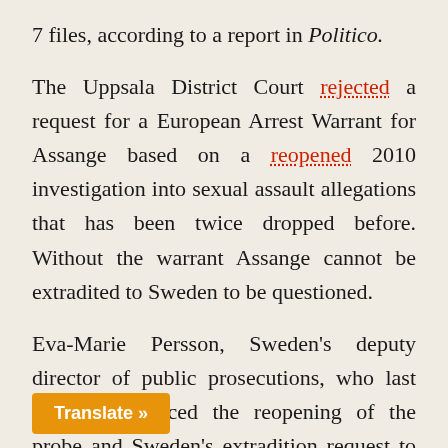7 files, according to a report in Politico.
The Uppsala District Court rejected a request for a European Arrest Warrant for Assange based on a reopened 2010 investigation into sexual assault allegations that has been twice dropped before. Without the warrant Assange cannot be extradited to Sweden to be questioned.
Eva-Marie Persson, Sweden's deputy director of public prosecutions, who last month announced the reopening of the probe and Sweden's extradition request to Britain, said she is deciding whether to appeal the ruling. In the meantime, Persson said she'd an Investigation Order, which would